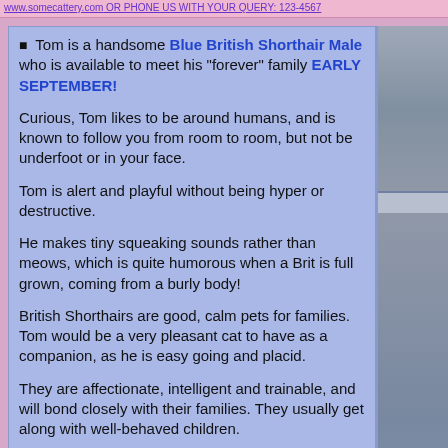www.somecattery.com OR PHONE US WITH YOUR QUERY: 123-4567
Tom is a handsome Blue British Shorthair Male who is available to meet his "forever" family EARLY SEPTEMBER!

Curious, Tom likes to be around humans, and is known to follow you from room to room, but not be underfoot or in your face.

Tom is alert and playful without being hyper or destructive.

He makes tiny squeaking sounds rather than meows, which is quite humorous when a Brit is full grown, coming from a burly body!

British Shorthairs are good, calm pets for families. Tom would be a very pleasant cat to have as a companion, as he is easy going and placid.

They are affectionate, intelligent and trainable, and will bond closely with their families. They usually get along with well-behaved children.

British Shorthairs are often referred to as "teddy bears", thanks to their round face and dense, furry coat.

They are striking, and the exceptionally cobby body and large, round face make for an adorable combination. It is no wonder the Blue British Shorthair is a firm favorite!
[Figure (photo): Photos of Tom the Blue British Shorthair cat, shown in two vertical panels on the right side of the page]